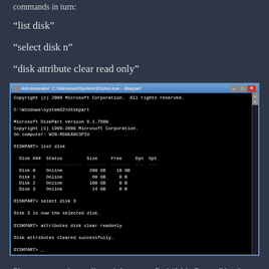commands in turn:
“list disk”
“select disk n”
“disk attribute clear read only”
[Figure (screenshot): Windows command prompt (diskpart) showing: list disk output with Disk 0 Online 200 GB 10 GB, Disk 1 Online 60 GB 0 B, Disk 2 Online 100 GB 0 B, Disk 3 Online 14 GB 0 B; then select disk 3, Disk 3 is now the selected disk., attributes disk clear readonly, Disk attributes cleared successfully., DISKPART> _]
Please open registry edit, and then go to find “WriteProtect” by the following path: